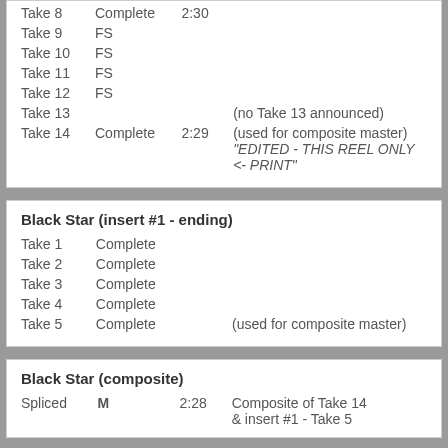| Take 8 | Complete | 2:30 |  |
| Take 9 | FS |  |  |
| Take 10 | FS |  |  |
| Take 11 | FS |  |  |
| Take 12 | FS |  |  |
| Take 13 |  |  | (no Take 13 announced) |
| Take 14 | Complete | 2:29 | (used for composite master) "EDITED - THIS REEL ONLY <- PRINT" |
Black Star (insert #1 - ending)
| Take 1 | Complete |  |  |
| Take 2 | Complete |  |  |
| Take 3 | Complete |  |  |
| Take 4 | Complete |  |  |
| Take 5 | Complete |  | (used for composite master) |
Black Star (composite)
| Spliced | M | 2:28 | Composite of Take 14 & insert #1 - Take 5 |